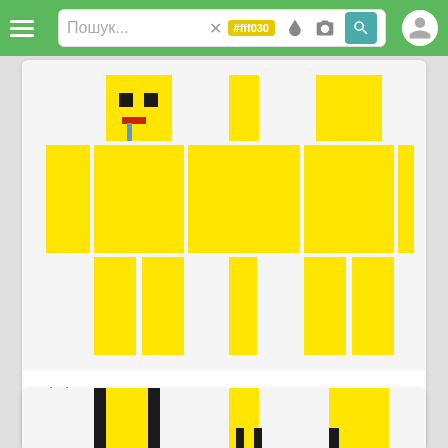[Figure (screenshot): Mobile app navigation bar with hamburger menu, search field containing 'Пошук...', a yellow tag '#fff030', color/camera icons, teal search button, and user avatar circle on green background]
[Figure (illustration): Minecraft skin character 'ginit' shown from front and side views - a yellow humanoid figure with black eyes, red mouth, blue tear drop]
ginit
64x64
59
7
[Figure (illustration): Partial view of a second Minecraft skin card - black and yellow character, partially cropped at bottom of screen]